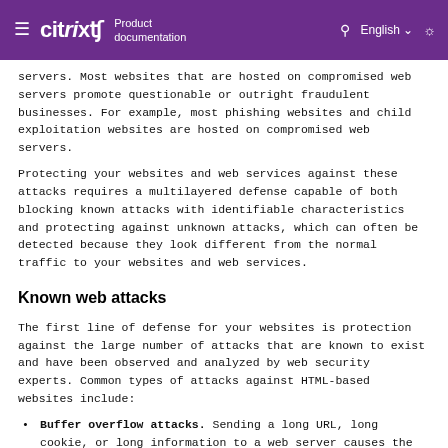Citrix Product documentation | English
servers. Most websites that are hosted on compromised web servers promote questionable or outright fraudulent businesses. For example, most phishing websites and child exploitation websites are hosted on compromised web servers.
Protecting your websites and web services against these attacks requires a multilayered defense capable of both blocking known attacks with identifiable characteristics and protecting against unknown attacks, which can often be detected because they look different from the normal traffic to your websites and web services.
Known web attacks
The first line of defense for your websites is protection against the large number of attacks that are known to exist and have been observed and analyzed by web security experts. Common types of attacks against HTML-based websites include:
Buffer overflow attacks. Sending a long URL, long cookie, or long information to a web server causes the system to hang, crash, or provide unauthorized access to the underlying operating system. A buffer overflow attack can be used to gain access to unauthorized